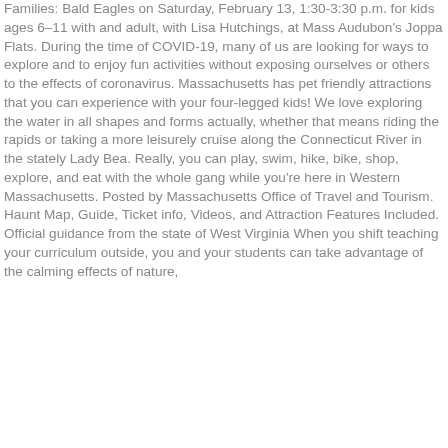Families: Bald Eagles on Saturday, February 13, 1:30-3:30 p.m. for kids ages 6–11 with and adult, with Lisa Hutchings, at Mass Audubon's Joppa Flats. During the time of COVID-19, many of us are looking for ways to explore and to enjoy fun activities without exposing ourselves or others to the effects of coronavirus. Massachusetts has pet friendly attractions that you can experience with your four-legged kids! We love exploring the water in all shapes and forms actually, whether that means riding the rapids or taking a more leisurely cruise along the Connecticut River in the stately Lady Bea. Really, you can play, swim, hike, bike, shop, explore, and eat with the whole gang while you're here in Western Massachusetts. Posted by Massachusetts Office of Travel and Tourism. Haunt Map, Guide, Ticket info, Videos, and Attraction Features Included. Official guidance from the state of West Virginia When you shift teaching your curriculum outside, you and your students can take advantage of the calming effects of nature,